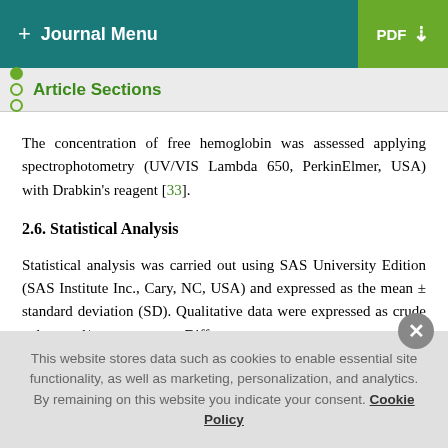+ Journal Menu | PDF ↓
Article Sections
The concentration of free hemoglobin was assessed applying spectrophotometry (UV/VIS Lambda 650, PerkinElmer, USA) with Drabkin's reagent [33].
2.6. Statistical Analysis
Statistical analysis was carried out using SAS University Edition (SAS Institute Inc., Cary, NC, USA) and expressed as the mean ± standard deviation (SD). Qualitative data were expressed as crude values and/or percentages. Differences
This website stores data such as cookies to enable essential site functionality, as well as marketing, personalization, and analytics. By remaining on this website you indicate your consent. Cookie Policy